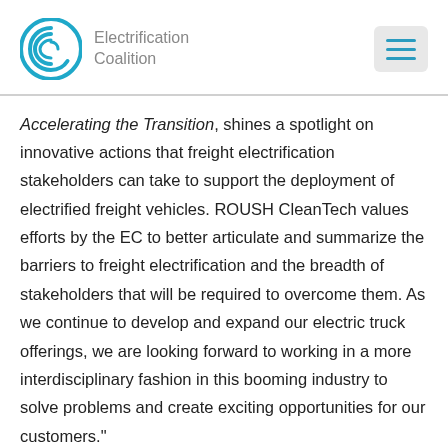Electrification Coalition
Accelerating the Transition, shines a spotlight on innovative actions that freight electrification stakeholders can take to support the deployment of electrified freight vehicles. ROUSH CleanTech values efforts by the EC to better articulate and summarize the barriers to freight electrification and the breadth of stakeholders that will be required to overcome them. As we continue to develop and expand our electric truck offerings, we are looking forward to working in a more interdisciplinary fashion in this booming industry to solve problems and create exciting opportunities for our customers."